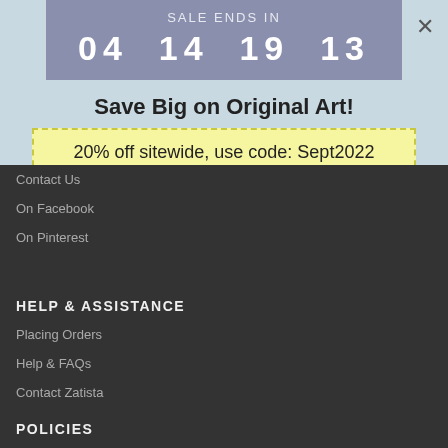SALE ENDS IN
04  14  19  13
×
Save Big on Original Art!
20% off sitewide, use code: Sept2022
Contact Us
On Facebook
On Pinterest
HELP & ASSISTANCE
Placing Orders
Help & FAQs
Contact Zatista
POLICIES